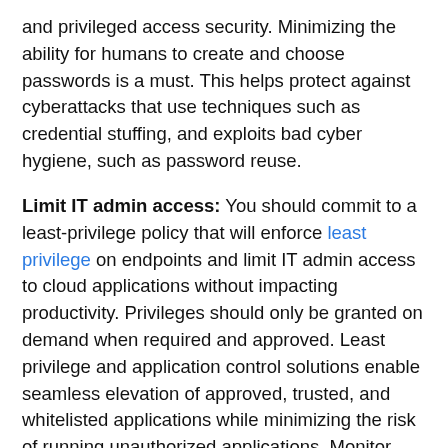and privileged access security. Minimizing the ability for humans to create and choose passwords is a must. This helps protect against cyberattacks that use techniques such as credential stuffing, and exploits bad cyber hygiene, such as password reuse.
Limit IT admin access: You should commit to a least-privilege policy that will enforce least privilege on endpoints and limit IT admin access to cloud applications without impacting productivity. Privileges should only be granted on demand when required and approved. Least privilege and application control solutions enable seamless elevation of approved, trusted, and whitelisted applications while minimizing the risk of running unauthorized applications. Monitor and record sessions: Your PAM solution should monitor and record privileged account activity, which helps enforce proper behavior and avoid mistakes by users. Audit, record, and monitor privileged activities to assist with regulatory compliance.